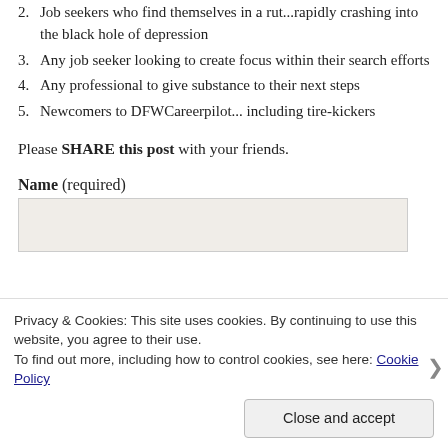2. Job seekers who find themselves in a rut...rapidly crashing into the black hole of depression
3. Any job seeker looking to create focus within their search efforts
4. Any professional to give substance to their next steps
5. Newcomers to DFWCareerpilot... including tire-kickers
Please SHARE this post with your friends.
Name (required)
[Figure (screenshot): Empty text input field with light beige background for name entry]
Privacy & Cookies: This site uses cookies. By continuing to use this website, you agree to their use.
To find out more, including how to control cookies, see here: Cookie Policy
Close and accept